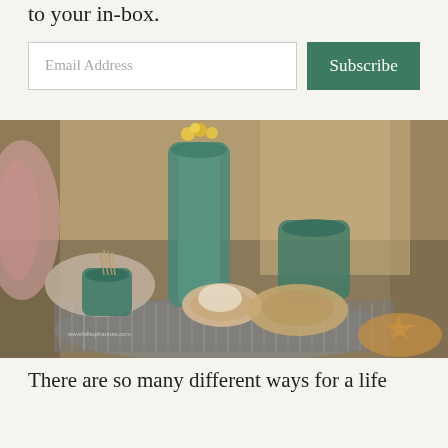to your in-box.
Email Address
Subscribe
[Figure (photo): A decorative beach-themed centerpiece arrangement on a corrugated metal tray, featuring teal/green glass mason jars and a vase with yellow flowers, surrounded by seashells, coral, and starfish on a burlap-draped surface.]
There are so many different ways for a life